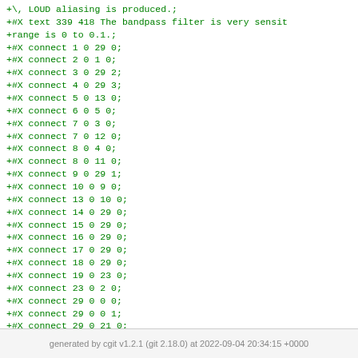+\, LOUD aliasing is produced.;
+#X text 339 418 The bandpass filter is very sensit
+range is 0 to 0.1.;
+#X connect 1 0 29 0;
+#X connect 2 0 1 0;
+#X connect 3 0 29 2;
+#X connect 4 0 29 3;
+#X connect 5 0 13 0;
+#X connect 6 0 5 0;
+#X connect 7 0 3 0;
+#X connect 7 0 12 0;
+#X connect 8 0 4 0;
+#X connect 8 0 11 0;
+#X connect 9 0 29 1;
+#X connect 10 0 9 0;
+#X connect 13 0 10 0;
+#X connect 14 0 29 0;
+#X connect 15 0 29 0;
+#X connect 16 0 29 0;
+#X connect 17 0 29 0;
+#X connect 18 0 29 0;
+#X connect 19 0 23 0;
+#X connect 23 0 2 0;
+#X connect 29 0 0 0;
+#X connect 29 0 0 1;
+#X connect 29 0 21 0;
generated by cgit v1.2.1 (git 2.18.0) at 2022-09-04 20:34:15 +0000